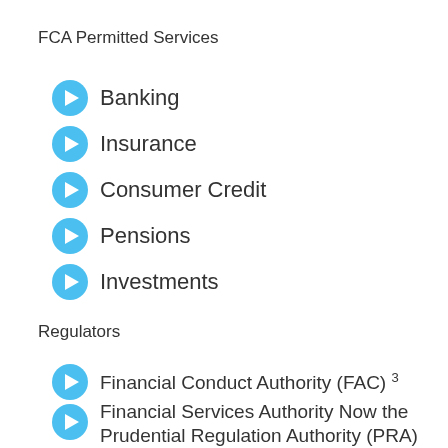FCA Permitted Services
Banking
Insurance
Consumer Credit
Pensions
Investments
Regulators
Financial Conduct Authority (FAC) 3
Financial Services Authority Now the Prudential Regulation Authority (PRA)